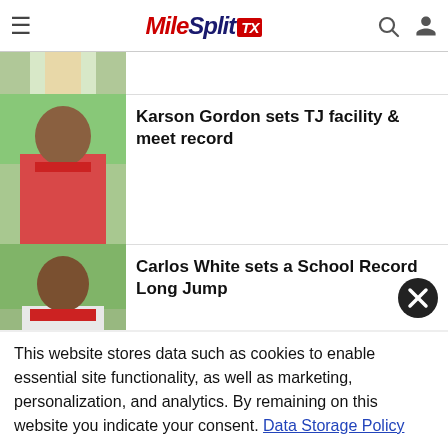MileSplit TX
[Figure (photo): Partial view of a track athlete (cropped, top portion only visible)]
[Figure (photo): Karson Gordon standing on a track field wearing a medal and red uniform]
Karson Gordon sets TJ facility & meet record
[Figure (photo): Carlos White standing on a track field wearing a red uniform with medal]
Carlos White sets a School Record Long Jump
[Figure (photo): Kacie Rhodes standing on a track field wearing a red uniform]
Kacie Rhodes places in SP & Discus
This website stores data such as cookies to enable essential site functionality, as well as marketing, personalization, and analytics. By remaining on this website you indicate your consent. Data Storage Policy